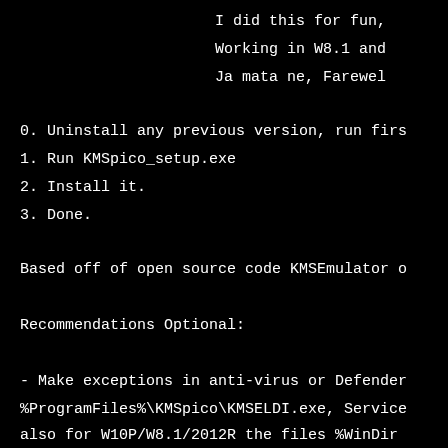I did this for fun,
Working in W8.1 and
Ja mata ne, Farewel
0. Uninstall any previous version, run firs
1. Run KMSpico_setup.exe
2. Install it.
3. Done.
Based off of open source code KMSEmulator o
Recommendations Optional:
- Make exceptions in anti-virus or Defender
%ProgramFiles%\KMSpico\KMSELDI.exe,  Service
also for W10P/W8.1/2012R the files  %WinDir